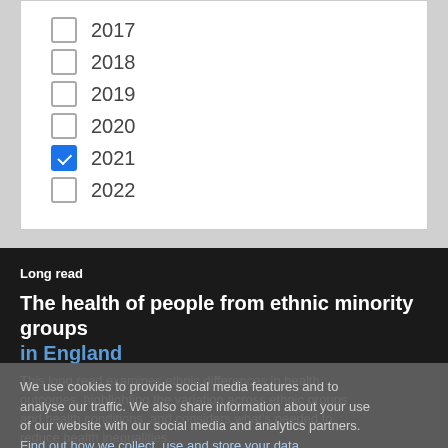2017
2018
2019
2020
2021 (checked)
2022
Long read
The health of people from ethnic minority groups in England
This long read examines ethnic differences in health outcomes, highlighting the variation across ethnic groups and health conditions, and considers what's needed to reduce health inequalities.
We use cookies to provide social media features and to analyse our traffic. We also share information about your use of our website with our social media and analytics partners. Find out how we collect, use and store your data.
Cookie settings  ✓ Accept cookies
By Veena Raleigh et al - 17 September 2021